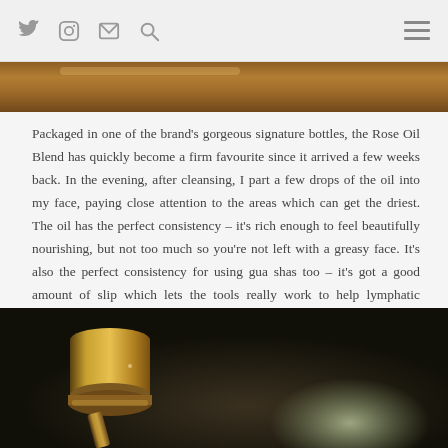Navigation bar with Twitter, Instagram, mail, search icons and hamburger menu
[Figure (photo): A close-up of a golden/bronze coloured cosmetic bottle cap or container, soft focus background]
Packaged in one of the brand’s gorgeous signature bottles, the Rose Oil Blend has quickly become a firm favourite since it arrived a few weeks back. In the evening, after cleansing, I part a few drops of the oil into my face, paying close attention to the areas which can get the driest. The oil has the perfect consistency – it’s rich enough to feel beautifully nourishing, but not too much so you’re not left with a greasy face. It’s also the perfect consistency for using gua shas too – it’s got a good amount of slip which lets the tools really work to help lymphatic drainage.
[Figure (photo): Close-up photograph of a gold cosmetic bottle dropper or gua sha tool against a dark blurred background with soft light reflections]